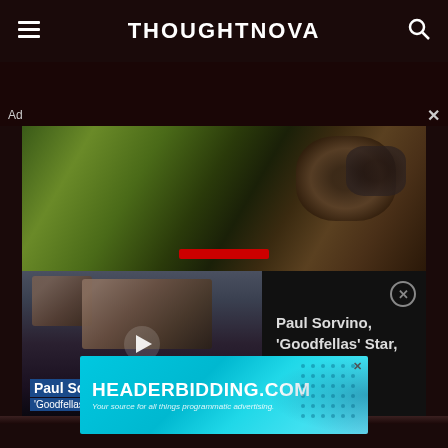THOUGHTNOVA
[Figure (screenshot): Ad overlay with video thumbnail of news story about Paul Sorvino, Goodfellas Star, Dead at 83, with play button and blue title card. Notification panel on right side shows text: Paul Sorvino, 'Goodfellas' Star, Dead at 83 with close button.]
Ad
[Figure (screenshot): HEADERBIDDING.COM advertisement banner. Text: HEADERBIDDING.COM. Your source for all things programmatic advertising.]